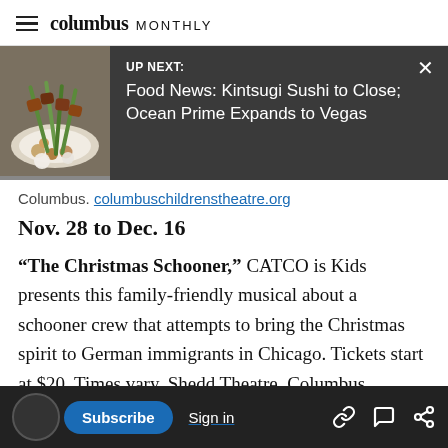columbus MONTHLY
[Figure (screenshot): Up Next banner with food photo thumbnail showing skewers on a plate, dark gray background, title: Food News: Kintsugi Sushi to Close; Ocean Prime Expands to Vegas, with X close button]
Columbus. columbuschildrenstheatre.org
Nov. 28 to Dec. 16
“The Christmas Schooner,” CATCO is Kids presents this family-friendly musical about a schooner crew that attempts to bring the Christmas spirit to German immigrants in Chicago. Tickets start at $20. Times vary. Shedd Theatre, Columbus Performing Arts Center, 549 Franklin Ave. (Discovery District), Columbus
Subscribe  Sign in  [link icon] [comment icon] [share icon]